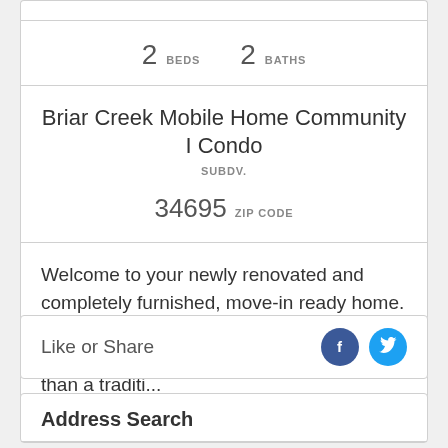2 BEDS  2 BATHS
Briar Creek Mobile Home Community I Condo
SUBDV.
34695 ZIP CODE
Welcome to your newly renovated and completely furnished, move-in ready home. This lovely manufactured home is more private than a condo and less expensive than a traditi...
Like or Share
Address Search